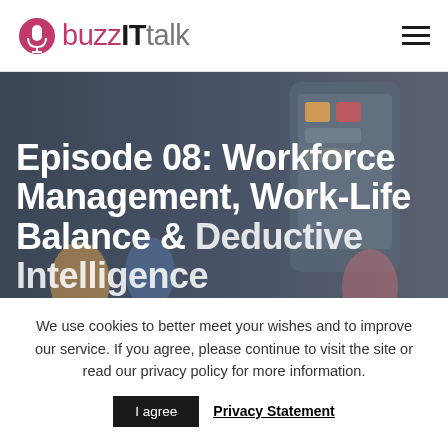buzzITtalk
[Figure (illustration): Hero banner with dark gray background and a colorful illustration of people using mobile devices/apps. Large white text overlays the image.]
Episode 08: Workforce Management, Work-Life Balance & Deductive Intelligence
We use cookies to better meet your wishes and to improve our service. If you agree, please continue to visit the site or read our privacy policy for more information.
I agree   Privacy Statement